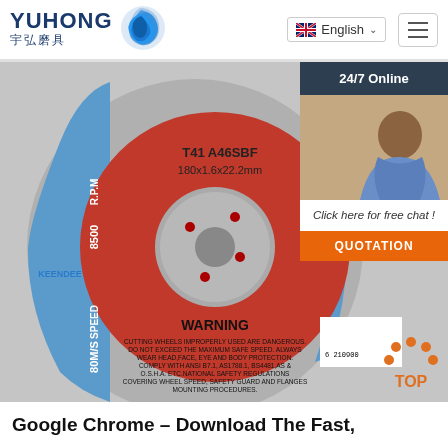YUHONG 宇弘磨具 | English | Menu
[Figure (photo): Yuhong Keendee cutting wheel/disc product photo. Red and silver disc labeled T41 A46SBF 180x1.6x22.2mm, R.P.M 8500, SPEED 80M/S, WARNING text at bottom. ISO 9001 badge visible. Barcode 6210900... shown. STAIL-STEEL / STAINLESS label visible.]
[Figure (photo): Customer service representative woman with headset, overlay panel with 24/7 Online label, Click here for free chat text, and QUOTATION orange button.]
[Figure (other): TOP button with orange dots arranged in triangle above the word TOP in orange text.]
Google Chrome – Download The Fast,